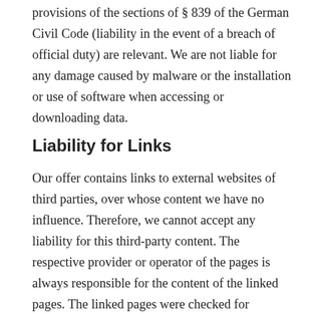provisions of the sections of § 839 of the German Civil Code (liability in the event of a breach of official duty) are relevant. We are not liable for any damage caused by malware or the installation or use of software when accessing or downloading data.
Liability for Links
Our offer contains links to external websites of third parties, over whose content we have no influence. Therefore, we cannot accept any liability for this third-party content. The respective provider or operator of the pages is always responsible for the content of the linked pages. The linked pages were checked for possible legal violations at the time they were linked. No illegal content was found at the time the link was created.